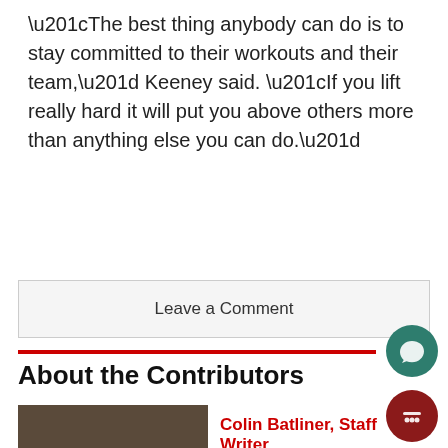“The best thing anybody can do is to stay committed to their workouts and their team,” Keeney said. “If you lift really hard it will put you above others more than anything else you can do.”
Leave a Comment
About the Contributors
Colin Batliner, Staff Writer